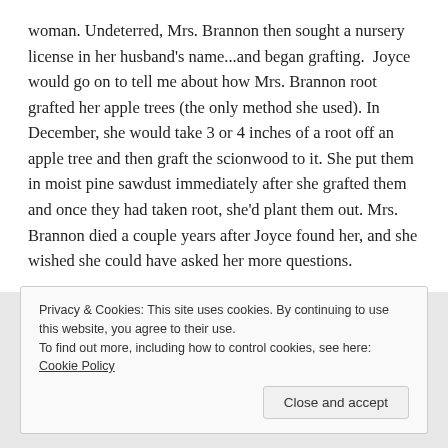woman. Undeterred, Mrs. Brannon then sought a nursery license in her husband's name...and began grafting.  Joyce would go on to tell me about how Mrs. Brannon root grafted her apple trees (the only method she used). In December, she would take 3 or 4 inches of a root off an apple tree and then graft the scionwood to it. She put them in moist pine sawdust immediately after she grafted them and once they had taken root, she'd plant them out. Mrs. Brannon died a couple years after Joyce found her, and she wished she could have asked her more questions.
Privacy & Cookies: This site uses cookies. By continuing to use this website, you agree to their use.
To find out more, including how to control cookies, see here: Cookie Policy
Close and accept